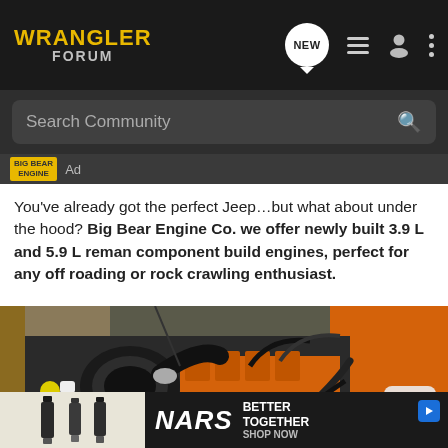WRANGLER FORUM
Search Community
Ad
You've already got the perfect Jeep…but what about under the hood? Big Bear Engine Co. we offer newly built 3.9 L and 5.9 L reman component build engines, perfect for any off roading or rock crawling enthusiast.
[Figure (photo): Orange Jeep engine bay with black air intake, orange engine block components, open hood visible]
[Figure (infographic): NARS cosmetics advertisement banner — BETTER TOGETHER SHOP NOW]